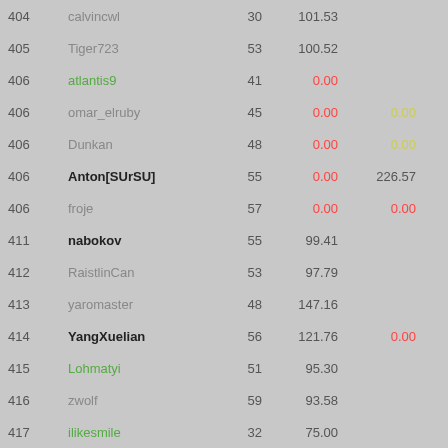| Rank | Name | N | Score | Extra | Bonus | Total |
| --- | --- | --- | --- | --- | --- | --- |
| 404 | calvincwl | 30 | 101.53 |  |  | 101.53 |
| 405 | Tiger723 | 53 | 100.52 |  |  | 100.52 |
| 406 | atlantis9 | 41 | 0.00 |  | +100 | 100.00 |
| 406 | omar_elruby | 45 | 0.00 | 0.00 | +100 | 100.00 |
| 406 | Dunkan | 48 | 0.00 | 0.00 | +100 | 100.00 |
| 406 | Anton[SUrSU] | 55 | 0.00 | 226.57 |  | 100.00 |
| 406 | froje | 57 | 0.00 | 0.00 | +100 | 100.00 |
| 411 | nabokov | 55 | 99.41 |  |  | 99.41 |
| 412 | RaistlinCan | 53 | 97.79 |  |  | 97.79 |
| 413 | yaromaster | 48 | 147.16 |  | -50 | 97.16 |
| 414 | YangXuelian | 56 | 121.76 | 0.00 | -25 | 96.76 |
| 415 | Lohmatyi | 51 | 95.30 |  |  | 95.30 |
| 416 | zwolf | 59 | 93.58 |  |  | 93.58 |
| 417 | ilikesmile | 32 | 75.00 |  |  | 75.00 |